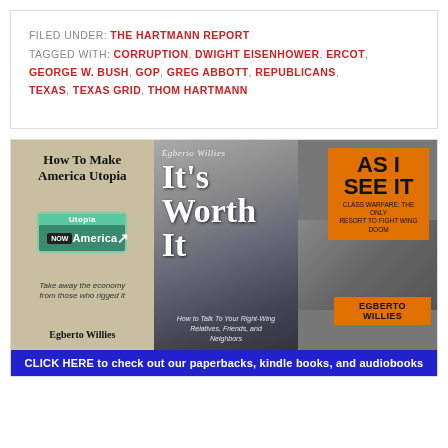FILED UNDER: THE HARTMANN REPORT
TAGGED WITH: CORRUPTION, DWIGHT EISENHOWER, ERCOT, GEORGE W. BUSH, GOP, GREG ABBOTT, REPUBLICANS, TEXAS, TEXAS GRID, THOM HARTMANN
[Figure (illustration): Banner advertisement showing three book covers by Egberto Willies: 'How To Make America Utopia', 'It's Worth It', and 'As I See It: Class Warfare, The Only Resort To fight Wing Doom'. Blue banner at bottom reads 'CLICK HERE to check out our paperbacks, kindle books, and audiobooks'.]